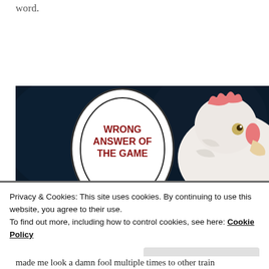word.
[Figure (photo): A close-up photo of a white chicken/rooster with a pink comb peeking from the right side, next to a large white egg with 'WRONG ANSWER OF THE GAME' written in bold dark red text on a dark background.]
Privacy & Cookies: This site uses cookies. By continuing to use this website, you agree to their use.
To find out more, including how to control cookies, see here: Cookie Policy
Close and accept
made me look a damn fool multiple times to other train